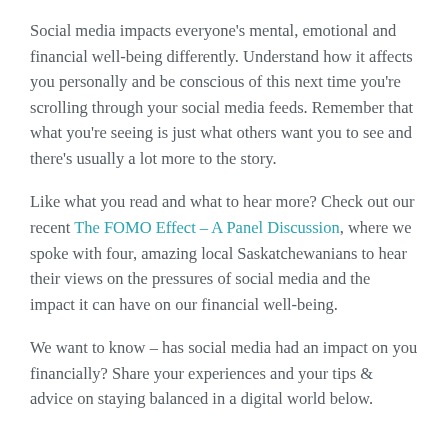Social media impacts everyone's mental, emotional and financial well-being differently. Understand how it affects you personally and be conscious of this next time you're scrolling through your social media feeds. Remember that what you're seeing is just what others want you to see and there's usually a lot more to the story.
Like what you read and what to hear more? Check out our recent The FOMO Effect – A Panel Discussion, where we spoke with four, amazing local Saskatchewanians to hear their views on the pressures of social media and the impact it can have on our financial well-being.
We want to know – has social media had an impact on you financially? Share your experiences and your tips & advice on staying balanced in a digital world below.